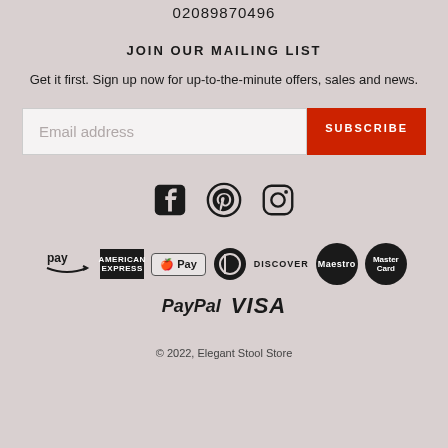02089870496
JOIN OUR MAILING LIST
Get it first. Sign up now for up-to-the-minute offers, sales and news.
[Figure (infographic): Email address input field with red SUBSCRIBE button]
[Figure (infographic): Social media icons: Facebook, Pinterest, Instagram]
[Figure (infographic): Payment method logos: Amazon Pay, American Express, Apple Pay, Diners Club, Discover, Maestro, MasterCard, PayPal, Visa]
© 2022, Elegant Stool Store